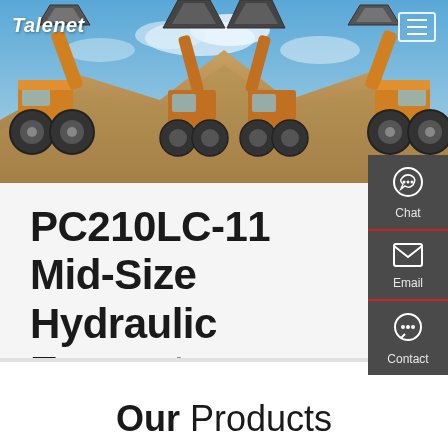Talenet
[Figure (photo): Hero image showing two large yellow wheel loaders/excavators facing each other with raised buckets, set against a blue sky with sandy terrain in the background]
[Figure (infographic): Right sidebar with dark gray background containing three buttons: Chat (with headset icon), Email (with envelope icon), and Contact (with speech bubble icon), separated by red horizontal lines]
PC210LC-11 Mid-Size Hydraulic Excavator
Our Products